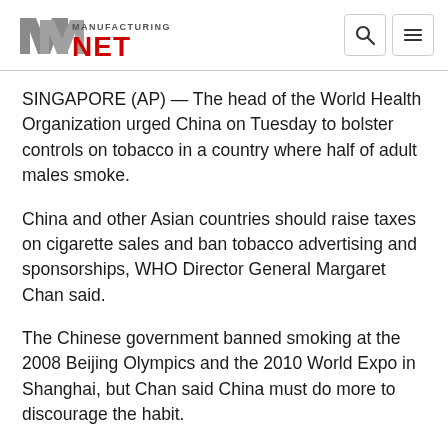Manufacturing.net
SINGAPORE (AP) — The head of the World Health Organization urged China on Tuesday to bolster controls on tobacco in a country where half of adult males smoke.
China and other Asian countries should raise taxes on cigarette sales and ban tobacco advertising and sponsorships, WHO Director General Margaret Chan said.
The Chinese government banned smoking at the 2008 Beijing Olympics and the 2010 World Expo in Shanghai, but Chan said China must do more to discourage the habit.